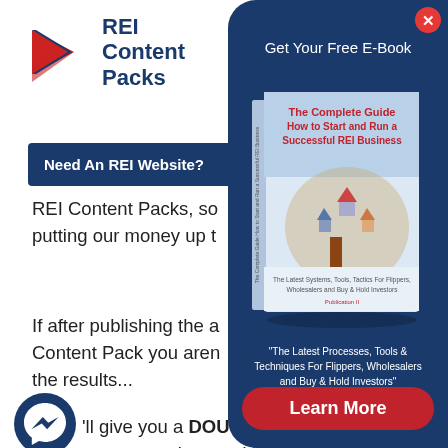[Figure (logo): REI Content Packs logo with red arrow chevron icon and blue text]
REI Content Packs
Need An REI Website?
REI Content Packs, so putting our money up to
If after publishing the a Content Pack you aren the results...
'll give you a DOU money you invested in
[Figure (illustration): Popup overlay with dark blue background showing a book titled 'The Complete Guide How to Start and Run a Successful REI Business']
Get Your Free E-Book
"The Latest Processes, Tools & Techniques For Flippers, Wholesalers and Buy & Hold Investors"
Learn More